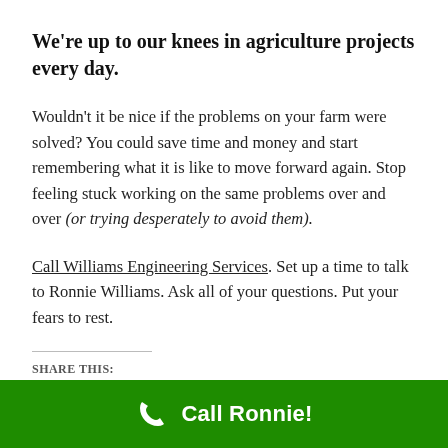We're up to our knees in agriculture projects every day.
Wouldn't it be nice if the problems on your farm were solved? You could save time and money and start remembering what it is like to move forward again. Stop feeling stuck working on the same problems over and over (or trying desperately to avoid them).
Call Williams Engineering Services. Set up a time to talk to Ronnie Williams. Ask all of your questions. Put your fears to rest.
SHARE THIS:
[Figure (other): Share buttons for Twitter and Facebook]
Call Ronnie!